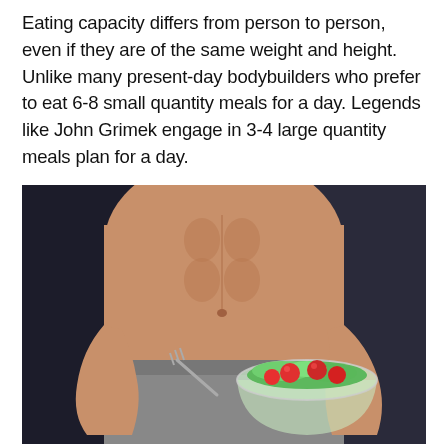Eating capacity differs from person to person, even if they are of the same weight and height. Unlike many present-day bodybuilders who prefer to eat 6-8 small quantity meals for a day. Legends like John Grimek engage in 3-4 large quantity meals plan for a day.
[Figure (photo): A muscular shirtless man holding a glass bowl of salad with lettuce and cherry tomatoes, eating with a fork, dark background.]